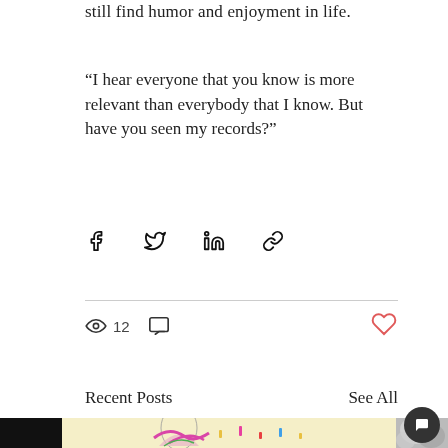still find humor and enjoyment in life.
“I hear everyone that you know is more relevant than everybody that I know. But have you seen my records?”
[Figure (infographic): Social share icons: Facebook, Twitter, LinkedIn, link/copy]
[Figure (infographic): Post stats: eye icon with count 12, comment icon, heart/like icon (outlined in red/coral)]
Recent Posts
See All
[Figure (illustration): Row of thumbnail images: black rectangle, colorful illustration of classical bust with pink snake and tropical plants on cream background, partial black-and-white floral photo]